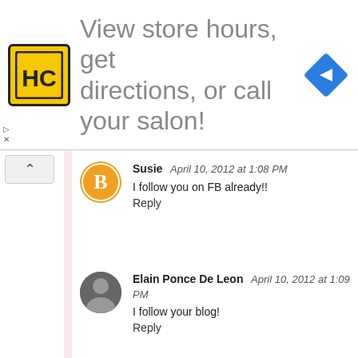[Figure (other): Advertisement banner: HC logo (yellow square with black HC text), text 'View store hours, get directions, or call your salon!', blue diamond navigation arrow icon]
I follow you on FB already!!
Reply
I follow your blog!
Reply
I "like" you on Facebook. Happy Birthday Partiologist!
Reply